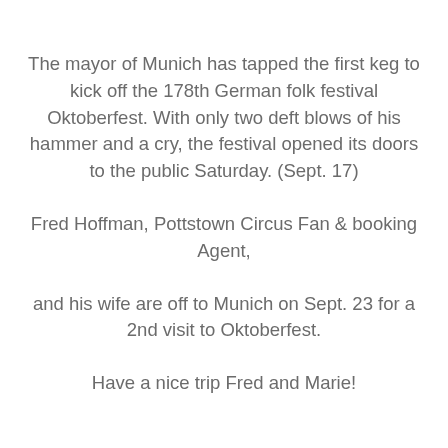The mayor of Munich has tapped the first keg to kick off the 178th German folk festival Oktoberfest. With only two deft blows of his hammer and a cry, the festival opened its doors to the public Saturday. (Sept. 17)
Fred Hoffman, Pottstown Circus Fan & booking Agent,
and his wife are off to Munich on Sept. 23 for a 2nd visit to Oktoberfest.
Have a nice trip Fred and Marie!